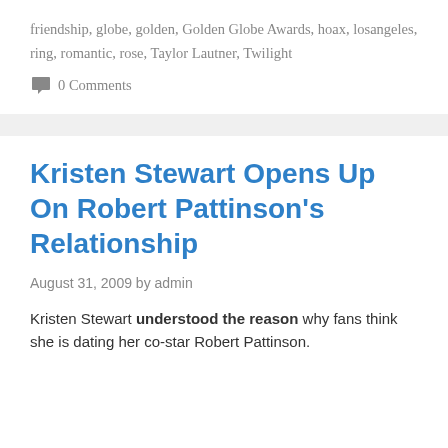friendship, globe, golden, Golden Globe Awards, hoax, losangeles, ring, romantic, rose, Taylor Lautner, Twilight
0 Comments
Kristen Stewart Opens Up On Robert Pattinson's Relationship
August 31, 2009 by admin
Kristen Stewart understood the reason why fans think she is dating her co-star Robert Pattinson.